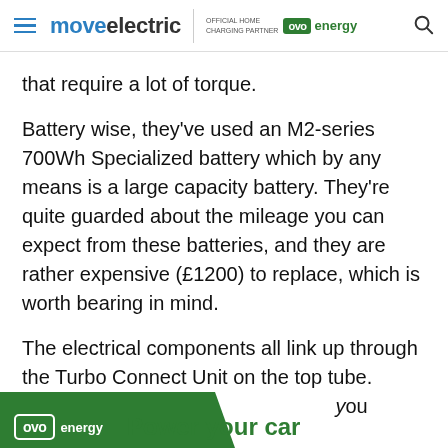move electric | OFFICIAL HOME CHARGING PARTNER ovo energy
that require a lot of torque.
Battery wise, they've used an M2-series 700Wh Specialized battery which by any means is a large capacity battery. They're quite guarded about the mileage you can expect from these batteries, and they are rather expensive (£1200) to replace, which is worth bearing in mind.
The electrical components all link up through the Turbo Connect Unit on the top tube. Unfo[rtunately...]you